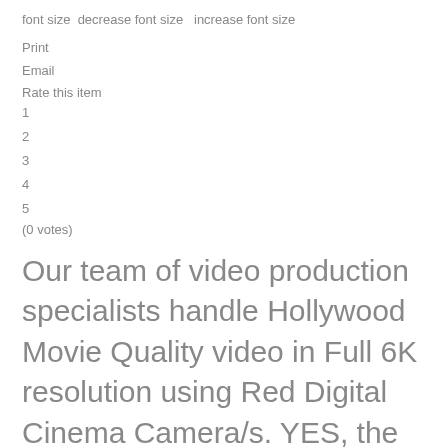font size  decrease font size   increase font size
Print
Email
Rate this item
1
2
3
4
5
(0 votes)
Our team of video production specialists handle Hollywood Movie Quality video in Full 6K resolution using Red Digital Cinema Camera/s. YES, the same cameras used to shoot movies like "The